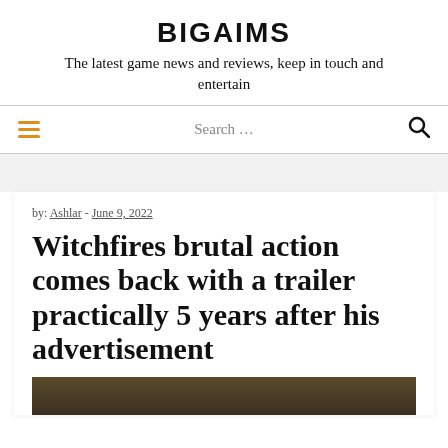BIGAIMS
The latest game news and reviews, keep in touch and entertain
≡   Search ...   🔍
by: Ashlar - June 9, 2022
Witchfires brutal action comes back with a trailer practically 5 years after his advertisement
[Figure (photo): Dark forest or game scene image strip at the bottom of the article card]